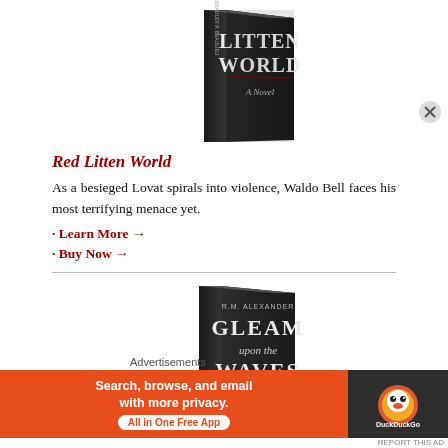[Figure (photo): Book cover of 'Red Litten World' - dark/black cover with stylized white text, shown as a 3D book]
Red Litten World
As a besieged Lovat spirals into violence, Waldo Bell faces his most terrifying menace yet.
· Learn More →
· Buy Now →
[Figure (photo): Book cover of 'Gleam Upon the Waves' by R.M. Alexander - dark/black cover with stylized text, shown as a 3D book]
Advertisements
[Figure (photo): DuckDuckGo advertisement banner: 'Search, browse, and email with more privacy. All in One Free App' on orange background with DuckDuckGo logo on dark background]